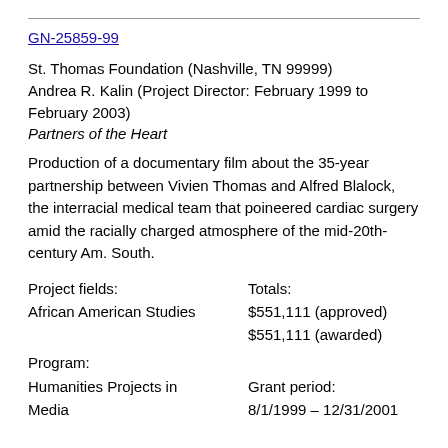GN-25859-99
St. Thomas Foundation (Nashville, TN 99999)
Andrea R. Kalin (Project Director: February 1999 to February 2003)
Partners of the Heart
Production of a documentary film about the 35-year partnership between Vivien Thomas and Alfred Blalock, the interracial medical team that poineered cardiac surgery amid the racially charged atmosphere of the mid-20th-century Am. South.
| Project fields: | Totals: |
| African American Studies | $551,111 (approved) |
|  | $551,111 (awarded) |
| Program: |  |
| Humanities Projects in Media | Grant period: |
|  | 8/1/1999 – 12/31/2001 |